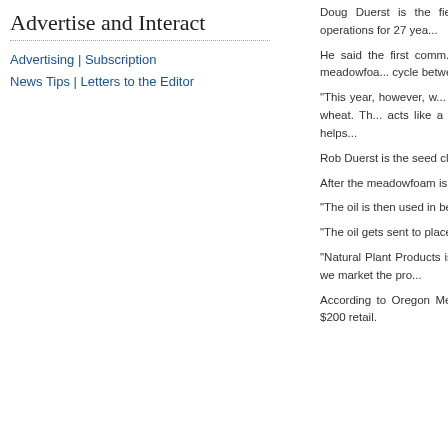Advertise and Interact
Advertising | Subscription
News Tips | Letters to the Editor
Doug Duerst is the field manager and has been involved in the farm's operations for 27 years.
He said the first commercial meadowfoam was grown ... Farms plants meadowfoam ... cycle between different grass...
"This year, however, we... meadowfoam seed directly... from last year's wheat. Th... acts like a trellis for the mea... Duerst said. "This also helps...
Rob Duerst is the seed clea... operations of since he was e...
After the meadowfoam is ha... gallon drums and sent to va...
"The oil is then used in beau...
"The oil gets sent to place... unique chemical properties t...
"Natural Plant Products is th... a cooperative of 54 membe... and how we market the pro...
According to Oregon Meado... which means it does not de... about $200 retail.